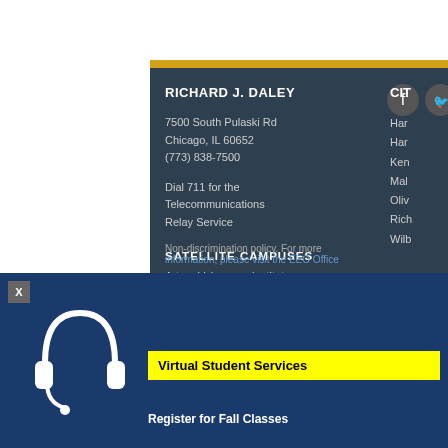RICHARD J. DALEY
7500 South Pulaski Rd
Chicago, IL 60652
(773) 838-7500
Dial 711 for the Telecommunications Relay Service
SATELLITE CAMPUSES
Arturo Velasquez Institute
CIT
Har
Har
Ken
Mal
Oliv
Rich
Wilb
Non-discrimination policy. For more information, please visit the EEO Office
Virtual Student Services
Register for Fall Classes